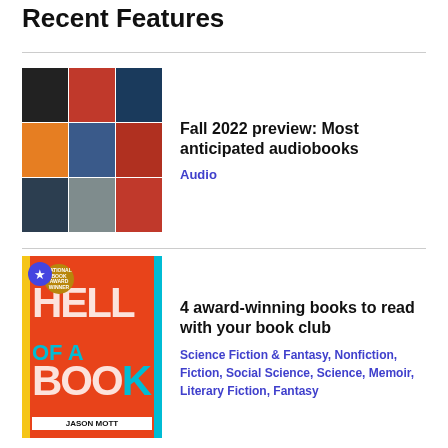Recent Features
[Figure (photo): Mosaic of audiobook covers for Fall 2022 preview]
Fall 2022 preview: Most anticipated audiobooks
Audio
[Figure (photo): Cover of 'Hell of a Book' by Jason Mott with star badge and National Book Award winner badge]
4 award-winning books to read with your book club
Science Fiction & Fantasy, Nonfiction, Fiction, Social Science, Science, Memoir, Literary Fiction, Fantasy